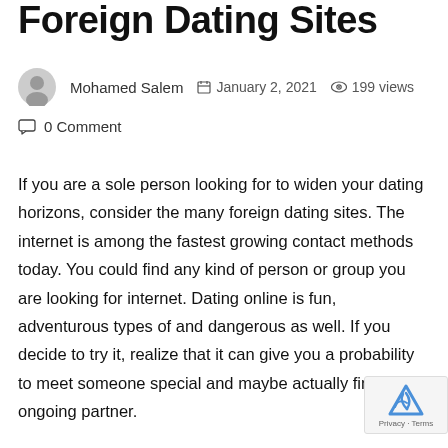Foreign Dating Sites
Mohamed Salem   January 2, 2021   199 views   0 Comment
If you are a sole person looking for to widen your dating horizons, consider the many foreign dating sites. The internet is among the fastest growing contact methods today. You could find any kind of person or group you are looking for internet. Dating online is fun, adventurous types of and dangerous as well. If you decide to try it, realize that it can give you a probability to meet someone special and maybe actually find a ongoing partner.
Numerous the foreign dating sites feature intercontinental individual dating profiles in addition for their local information. An international account may include photos,